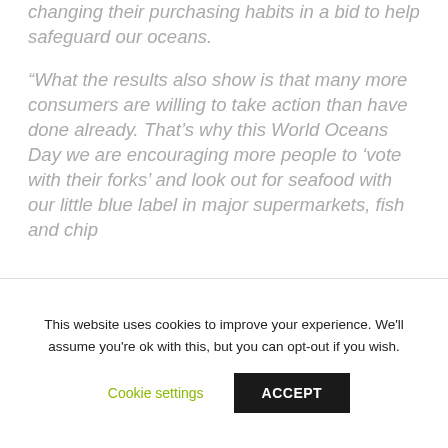changing their purchasing habits in a bid to help safeguard our oceans.
“What the results also show is that many more consumers are willing to take action than have done already. That’s why this World Oceans Day we are encouraging more people to ‘vote with their forks’ and look out for seafood with our little blue label in major supermarkets, fish and chip
This website uses cookies to improve your experience. We'll assume you're ok with this, but you can opt-out if you wish.
Cookie settings
ACCEPT